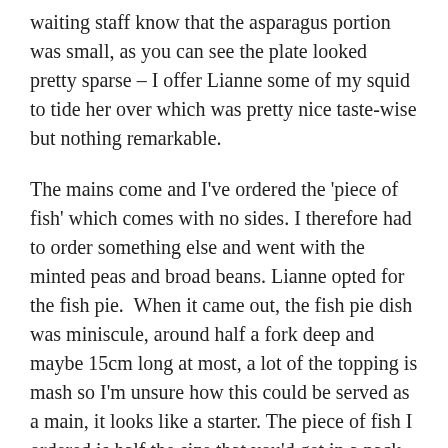waiting staff know that the asparagus portion was small, as you can see the plate looked pretty sparse – I offer Lianne some of my squid to tide her over which was pretty nice taste-wise but nothing remarkable.
The mains come and I've ordered the 'piece of fish' which comes with no sides. I therefore had to order something else and went with the minted peas and broad beans. Lianne opted for the fish pie.  When it came out, the fish pie dish was miniscule, around half a fork deep and maybe 15cm long at most, a lot of the topping is mash so I'm unsure how this could be served as a main, it looks like a starter. The piece of fish I ordered is half the size that you'd get in a pack in M&S, it's half a side of seabream which is very small considering I had to order my peas/beans for an extra £3.50 to go with it and I didn't particularly notice that the veg was minted. We mentioned the portion sizes to staff again who said the set menu is smaller in portion size, but this isn't usually the case in restaurants and surely it should